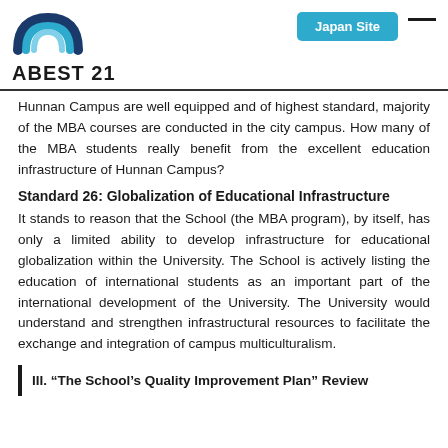ABEST 21 | Japan Site
Hunnan Campus are well equipped and of highest standard, majority of the MBA courses are conducted in the city campus. How many of the MBA students really benefit from the excellent education infrastructure of Hunnan Campus?
Standard 26: Globalization of Educational Infrastructure
It stands to reason that the School (the MBA program), by itself, has only a limited ability to develop infrastructure for educational globalization within the University. The School is actively listing the education of international students as an important part of the international development of the University. The University would understand and strengthen infrastructural resources to facilitate the exchange and integration of campus multiculturalism.
III. “The School’s Quality Improvement Plan” Review